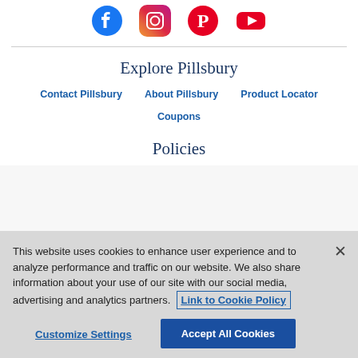[Figure (illustration): Four social media icons: Facebook (blue), Instagram (orange/pink gradient), Pinterest (red), YouTube (red)]
Explore Pillsbury
Contact Pillsbury
About Pillsbury
Product Locator
Coupons
Policies
This website uses cookies to enhance user experience and to analyze performance and traffic on our website. We also share information about your use of our site with our social media, advertising and analytics partners.  Link to Cookie Policy
Customize Settings   Accept All Cookies